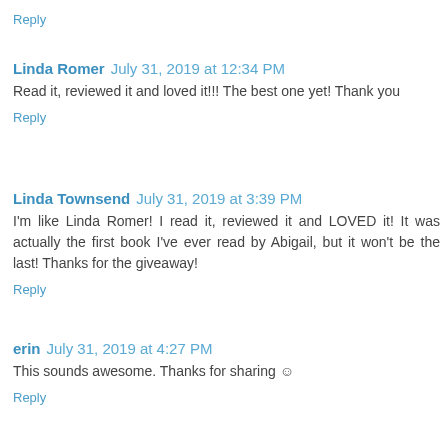Reply
Linda Romer  July 31, 2019 at 12:34 PM
Read it, reviewed it and loved it!!! The best one yet! Thank you
Reply
Linda Townsend  July 31, 2019 at 3:39 PM
I'm like Linda Romer! I read it, reviewed it and LOVED it! It was actually the first book I've ever read by Abigail, but it won't be the last! Thanks for the giveaway!
Reply
erin  July 31, 2019 at 4:27 PM
This sounds awesome. Thanks for sharing ☺
Reply